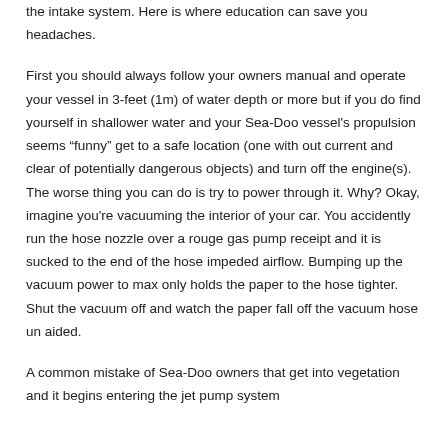the intake system. Here is where education can save you headaches.
First you should always follow your owners manual and operate your vessel in 3-feet (1m) of water depth or more but if you do find yourself in shallower water and your Sea-Doo vessel's propulsion seems “funny” get to a safe location (one with out current and clear of potentially dangerous objects) and turn off the engine(s). The worse thing you can do is try to power through it. Why? Okay, imagine you're vacuuming the interior of your car. You accidently run the hose nozzle over a rouge gas pump receipt and it is sucked to the end of the hose impeded airflow. Bumping up the vacuum power to max only holds the paper to the hose tighter. Shut the vacuum off and watch the paper fall off the vacuum hose un aided.
A common mistake of Sea-Doo owners that get into vegetation and it begins entering the jet pump system